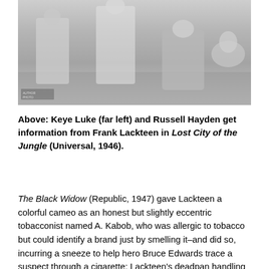[Figure (photo): Black and white photograph showing Keye Luke (far left) and Russell Hayden getting information from Frank Lackteen, figures crouching or leaning in a scene from Lost City of the Jungle.]
Above: Keye Luke (far left) and Russell Hayden get information from Frank Lackteen in Lost City of the Jungle (Universal, 1946).
The Black Widow (Republic, 1947) gave Lackteen a colorful cameo as an honest but slightly eccentric tobacconist named A. Kabob, who was allergic to tobacco but could identify a brand just by smelling it–and did so, incurring a sneeze to help hero Bruce Edwards trace a suspect through a cigarette; Lackteen's deadpan handling of this unusual bit was quite funny. He was an informant again–albeit a less respectable one–in the 1948